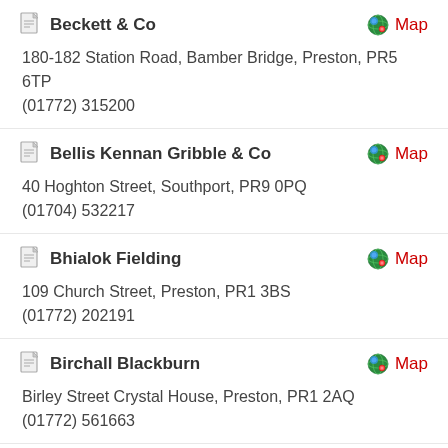Beckett & Co
180-182 Station Road, Bamber Bridge, Preston, PR5 6TP
(01772) 315200
Bellis Kennan Gribble & Co
40 Hoghton Street, Southport, PR9 0PQ
(01704) 532217
Bhialok Fielding
109 Church Street, Preston, PR1 3BS
(01772) 202191
Birchall Blackburn
Birley Street Crystal House, Preston, PR1 2AQ
(01772) 561663